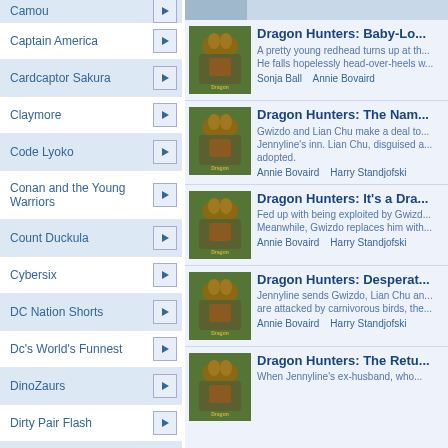Camou
Captain America
Cardcaptor Sakura
Claymore
Code Lyoko
Conan and the Young Warriors
Count Duckula
Cybersix
DC Nation Shorts
Dc's World's Funnest
DinoZaurs
Dirty Pair Flash
Disney
Double Dragon
Dr. Katz, Professional Therapist
Dr. Seuss
Dunno Tail??
Dragon Hunters: Baby-Lo... A pretty young redhead turns up at th... He falls hopelessly head-over-heels w... Sonja Ball   Annie Bovaird
Dragon Hunters: The Nam... Gwizdo and Lian Chu make a deal to... Jennyline's inn. Lian Chu, disguised a... adopted. Annie Bovaird   Harry Standjofski
Dragon Hunters: It's a Dra... Fed up with being exploited by Gwizd... Meanwhile, Gwizdo replaces him with... Annie Bovaird   Harry Standjofski
Dragon Hunters: Desperat... Jennyline sends Gwizdo, Lian Chu an... are attacked by carnivorous birds, the... Annie Bovaird   Harry Standjofski
Dragon Hunters: The Retu... When Jennyline's ex-husband, who...